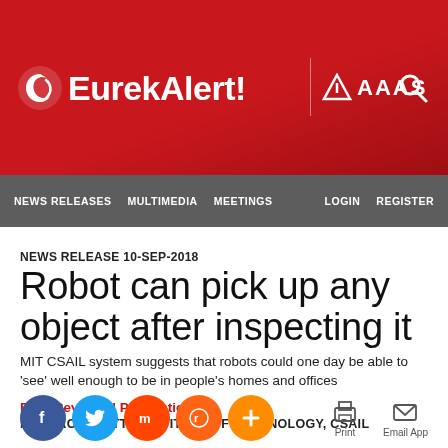[Figure (logo): EurekAlert! AAAS logo on red banner with search icon]
NEWS RELEASES    MULTIMEDIA    MEETINGS    LOGIN    REGISTER
NEWS RELEASE 10-SEP-2018
Robot can pick up any object after inspecting it
MIT CSAIL system suggests that robots could one day be able to 'see' well enough to be in people's homes and offices
Peer-Reviewed Publication
MASSACHUSETTS INSTITUTE OF TECHNOLOGY, CSAIL
[Figure (infographic): Social sharing icons: Facebook, Twitter, Mix, Reddit, Plus; Print and Email App action buttons]